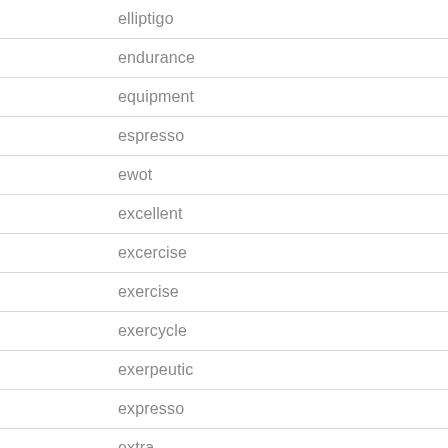elliptigo
endurance
equipment
espresso
ewot
excellent
excercise
exercise
exercycle
exerpeutic
expresso
extra